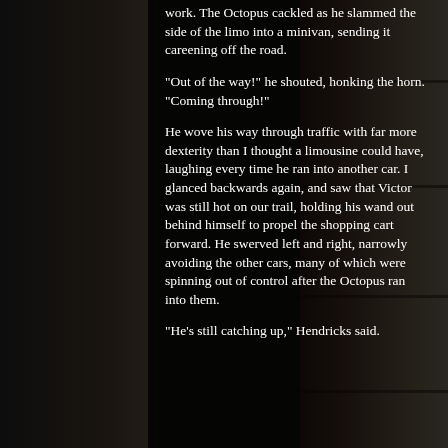work.  The Octopus cackled as he slammed the side of the limo into a minivan, sending it careening off the road.

"Out of the way!" he shouted, honking the horn.  "Coming through!"

He wove his way through traffic with far more dexterity than I thought a limousine could have, laughing every time he ran into another car.  I glanced backwards again, and saw that Victor was still hot on our trail, holding his wand out behind himself to propel the shopping cart forward. He swerved left and right, narrowly avoiding the other cars, many of which were spinning out of control after the Octopus ran into them.

"He's still catching up," Hendricks said.